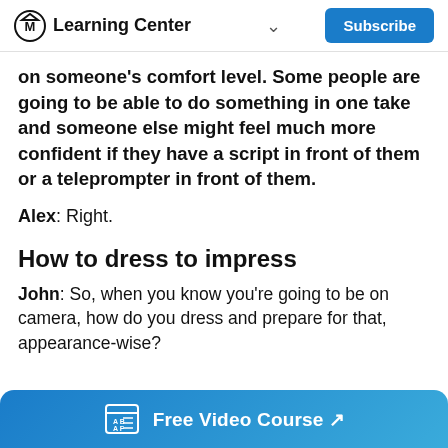Learning Center
on someone's comfort level. Some people are going to be able to do something in one take and someone else might feel much more confident if they have a script in front of them or a teleprompter in front of them.
Alex: Right.
How to dress to impress
John: So, when you know you're going to be on camera, how do you dress and prepare for that, appearance-wise?
Free Video Course ↗